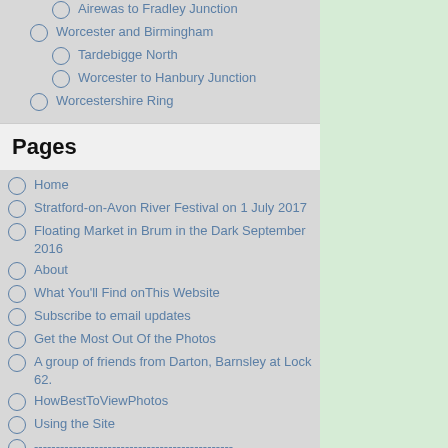Airewas to Fradley Junction
Worcester and Birmingham
Tardebigge North
Worcester to Hanbury Junction
Worcestershire Ring
Pages
Home
Stratford-on-Avon River Festival on 1 July 2017
Floating Market in Brum in the Dark September 2016
About
What You'll Find onThis Website
Subscribe to email updates
Get the Most Out Of the Photos
A group of friends from Darton, Barnsley at Lock 62.
HowBestToViewPhotos
Using the Site
----------------------------------------------
CITY & TOWN PHOTOS
Terms&Conditions
Contact Me